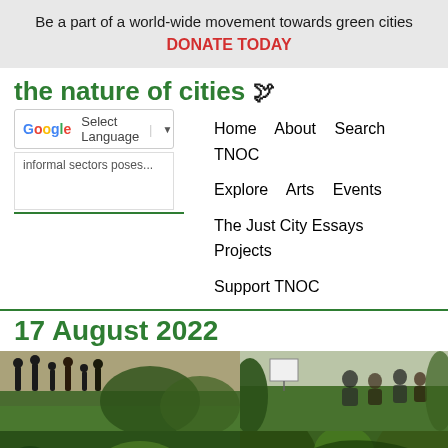Be a part of a world-wide movement towards green cities  DONATE TODAY
the nature of cities
Select Language
informal sectors poses...
Home   About   Search TNOC
Explore   Arts   Events
The Just City Essays   Projects
Support TNOC
17 August 2022
[Figure (photo): Photo collage showing four images of people outdoors in green park/garden settings]